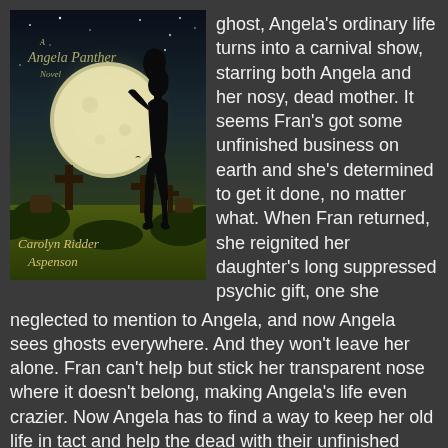[Figure (illustration): Book cover of 'A Angela Panther Novel' by Carolyn Ridder Aspenson. Shows a silhouette of a woman standing near cemetery crosses under a large glowing moon against a night sky.]
ghost, Angela's ordinary life turns into a carnival show, starring both Angela and her nosy, dead mother. It seems Fran's got some unfinished business on earth and she's determined to get it done, no matter what. When Fran returned, she reignited her daughter's long suppressed psychic gift, one she neglected to mention to Angela, and now Angela sees ghosts everywhere. And they won't leave her alone. Fran can't help but stick her transparent nose where it doesn't belong, making Angela's life even crazier. Now Angela has to find a way to keep her old life in tact and help the dead with their unfinished business, all while trying to keep her dead mother out of trouble. And it's a lot for one woman to handle.